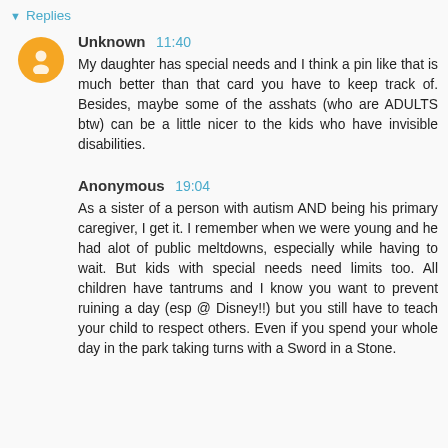▼ Replies
Unknown 11:40
My daughter has special needs and I think a pin like that is much better than that card you have to keep track of. Besides, maybe some of the asshats (who are ADULTS btw) can be a little nicer to the kids who have invisible disabilities.
Anonymous 19:04
As a sister of a person with autism AND being his primary caregiver, I get it. I remember when we were young and he had alot of public meltdowns, especially while having to wait. But kids with special needs need limits too. All children have tantrums and I know you want to prevent ruining a day (esp @ Disney!!) but you still have to teach your child to respect others. Even if you spend your whole day in the park taking turns with a Sword in a Stone.